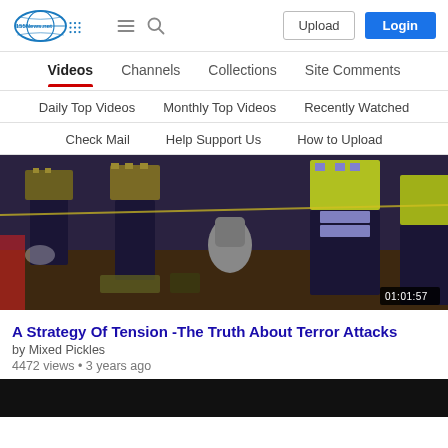[Figure (logo): 155News.net logo with blue oval and globe graphic]
Upload  Login
Videos  Channels  Collections  Site Comments
Daily Top Videos  Monthly Top Videos  Recently Watched
Check Mail  Help Support Us  How to Upload
[Figure (screenshot): Video thumbnail showing police officers in high-visibility vests at night scene, duration badge 01:01:57]
A Strategy Of Tension -The Truth About Terror Attacks
by Mixed Pickles
4472 views • 3 years ago
[Figure (screenshot): Bottom partial video thumbnail, black]